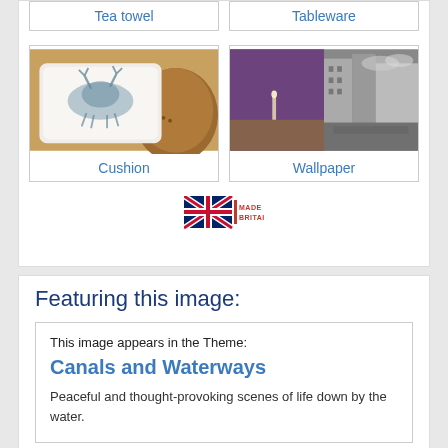Tea towel
Tableware
[Figure (photo): A decorative cushion with a stag/deer print in blue-grey ink, resting on a brown leather chair]
Cushion
[Figure (photo): A wallpaper design showing a split scene: purple modern interior on left, black and white historic street scene on right]
Wallpaper
[Figure (logo): Made in Britain logo with Union Jack flag]
Featuring this image:
This image appears in the Theme:
Canals and Waterways
Peaceful and thought-provoking scenes of life down by the water.